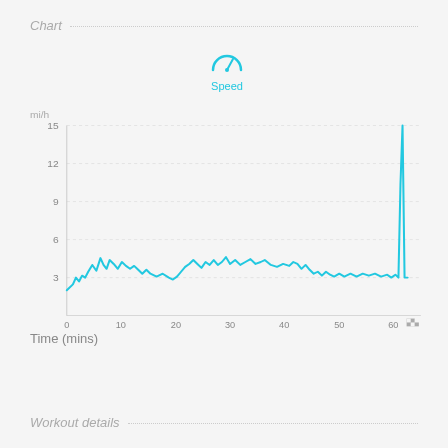Chart
[Figure (continuous-plot): Speed over time line chart showing speed in mi/h (y-axis, 0-15) vs Time in mins (x-axis, 0-65). The line is cyan/teal colored, showing oscillating speed around 3-6 mi/h for most of the workout (0-63 mins), with a sharp spike up to ~14 mi/h near the end (~64 mins). A speedometer icon with 'Speed' label appears above the chart.]
Time (mins)
Workout details